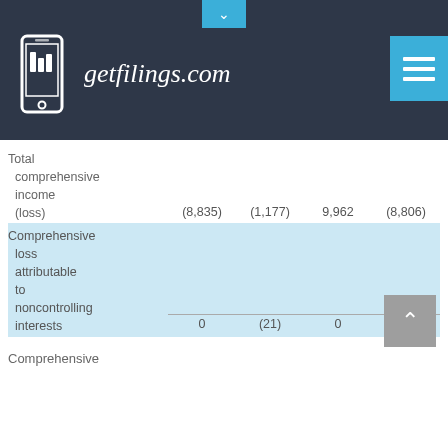getfilings.com
|  |  |  |  |  |
| --- | --- | --- | --- | --- |
| Total comprehensive income (loss) | (8,835) | (1,177) | 9,962 | (8,806) |
| Comprehensive loss attributable to noncontrolling interests | 0 | (21) | 0 | 0 |
Comprehensive